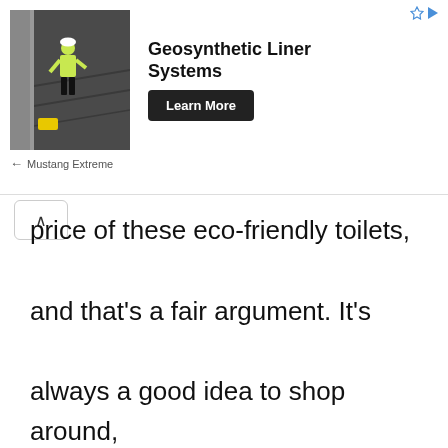[Figure (screenshot): Advertisement banner for Geosynthetic Liner Systems by Mustang Extreme, showing a worker on a large dark liner surface, with a 'Learn More' button]
price of these eco-friendly toilets, and that’s a fair argument. It’s always a good idea to shop around, but you might want to know the average price for certain models so you can make a more informed buying decision.